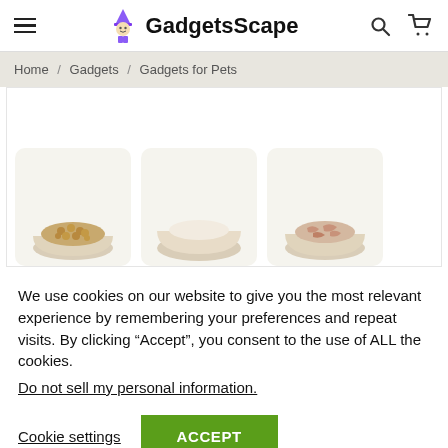GadgetsScape — navigation header with hamburger menu, logo, search and cart icons
Home / Gadgets / Gadgets for Pets
[Figure (photo): Three pet food bowls shown in product cards: dry kibble, empty/water bowl, and wet food with meat chunks]
We use cookies on our website to give you the most relevant experience by remembering your preferences and repeat visits. By clicking “Accept”, you consent to the use of ALL the cookies.
Do not sell my personal information.
Cookie settings
ACCEPT